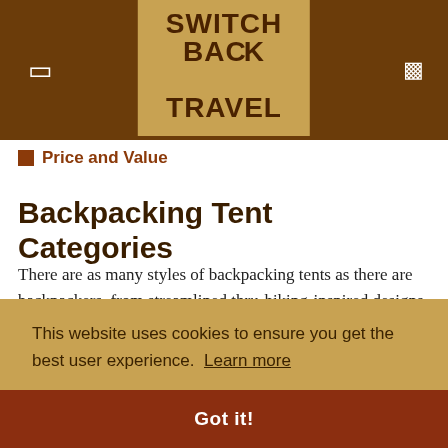SWITCH BACK TRAVEL
Price and Value
Backpacking Tent Categories
There are as many styles of backpacking tents as there are backpackers, from streamlined thru-hiking-inspired designs to durable and comfortable classics. It follows that there are many different categories to think about when choosing a tent. Whether you're a solo hiker, or prefer to camp with partners, need a rugged and light tent for fast travel, or want a spacious base do ...
This website uses cookies to ensure you get the best user experience. Learn more
Got it!